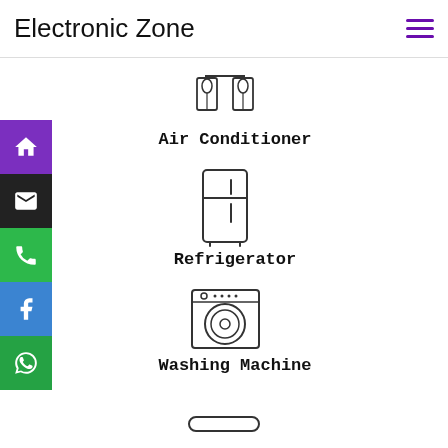Electronic Zone
[Figure (illustration): Air Conditioner icon - two decorative fan/coil units]
Air Conditioner
[Figure (illustration): Refrigerator icon - outline of a fridge with two compartments]
Refrigerator
[Figure (illustration): Washing machine icon - front-loader with circular drum]
Washing Machine
[Figure (illustration): Partial icon at bottom - appears to be another appliance, partially visible]